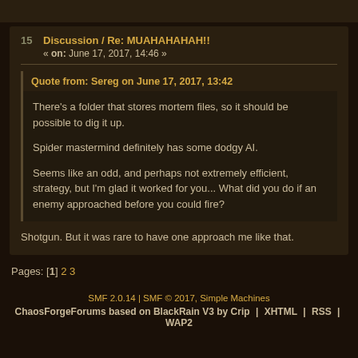15 Discussion / Re: MUAHAHAHAH!! « on: June 17, 2017, 14:46 »
Quote from: Sereg on June 17, 2017, 13:42
There's a folder that stores mortem files, so it should be possible to dig it up.

Spider mastermind definitely has some dodgy AI.

Seems like an odd, and perhaps not extremely efficient, strategy, but I'm glad it worked for you... What did you do if an enemy approached before you could fire?
Shotgun. But it was rare to have one approach me like that.
Pages: [1] 2 3
SMF 2.0.14 | SMF © 2017, Simple Machines
ChaosForgeForums based on BlackRain V3 by Crip | XHTML | RSS | WAP2